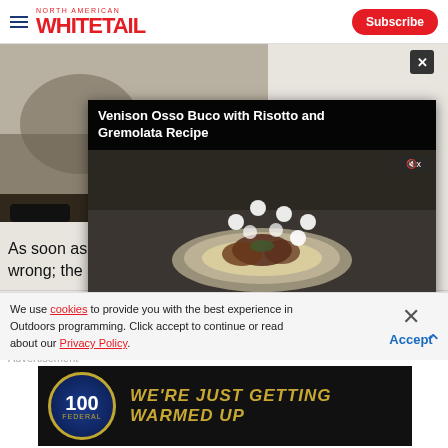North American Whitetail — Subscribe
[Figure (screenshot): Website screenshot showing a video player overlay with 'Venison Osso Buco with Risotto and Gremolata Recipe' on top of a hunting article page, plus a cookie consent banner and Federal ammunition advertisement at the bottom.]
As soon as I pul...
wrong; the arro...
We use cookies to provide you with the best experience in Outdoors programming. Click accept to continue or read about our Privacy Policy.
Advertisement
[Figure (photo): Federal Premium Ammunition 100 years badge with tagline WE'RE JUST GETTING WARMED UP on dark background]